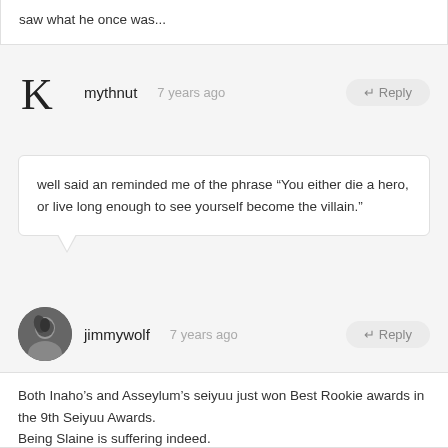saw what he once was...
mythnut  7 years ago
well said an reminded me of the phrase “You either die a hero, or live long enough to see yourself become the villain.”
jimmywolf  7 years ago
Both Inaho’s and Asseylum’s seiyuu just won Best Rookie awards in the 9th Seiyuu Awards.
Being Slaine is suffering indeed.
(although Ono Kensho probably is not qualified for the Rookie award anyway since he entered the industry by dubbing Harry Potter years ago.)